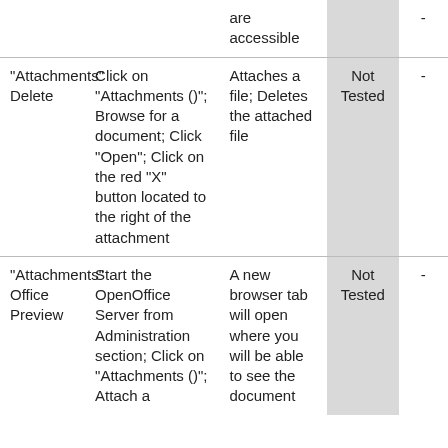|  |  | are accessible |  | - |
| "Attachments" Delete | Click on "Attachments ()"; Browse for a document; Click "Open"; Click on the red "X" button located to the right of the attachment | Attaches a file; Deletes the attached file | Not Tested | - |
| "Attachments" Office Preview | Start the OpenOffice Server from Administration section; Click on "Attachments ()"; Attach a | A new browser tab will open where you will be able to see the document | Not Tested | - |